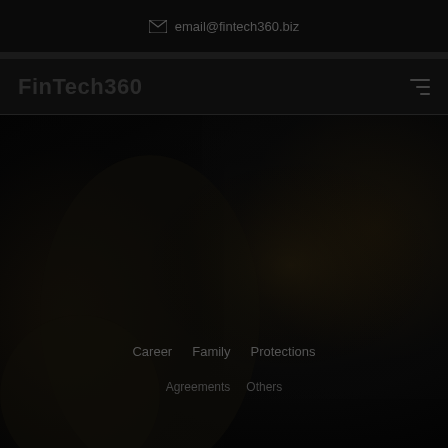email@fintech360.biz
FinTech360
[Figure (photo): Dark hero image showing people using mobile devices/phones in a very dark, almost black setting with faint warm tones. Navigation links overlaid: Career, Family, Protections, Agreements, Others]
Career  Family  Protections
Agreements  Others